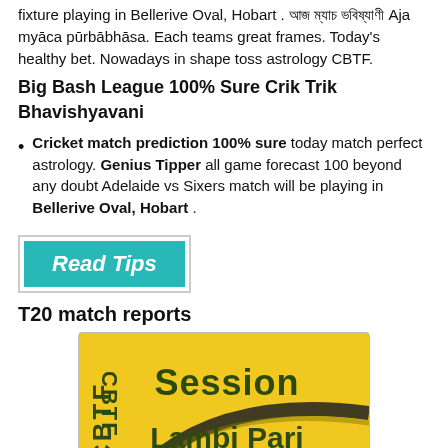fixture playing in Bellerive Oval, Hobart . আজ ম্যাচ ভবিষ্যাণী Aja myāca pūrbābhāsa. Each teams great frames. Today's healthy bet. Nowadays in shape toss astrology CBTF.
Big Bash League 100% Sure Crik Trik Bhavishyavani
Cricket match prediction 100% sure today match perfect astrology. Genius Tipper all game forecast 100 beyond any doubt Adelaide vs Sixers match will be playing in Bellerive Oval, Hobart .
[Figure (other): Teal/green 'Read Tips' button with italic bold white text on teal background, inside a light grey border box]
T20 match reports
[Figure (illustration): CBTF Session Lambi Pari promotional image on yellow/golden background with dark green bold text. Shows 'CBTF' vertically on left and 'Session' and 'Lambi Pari' text on right with swoosh design.]